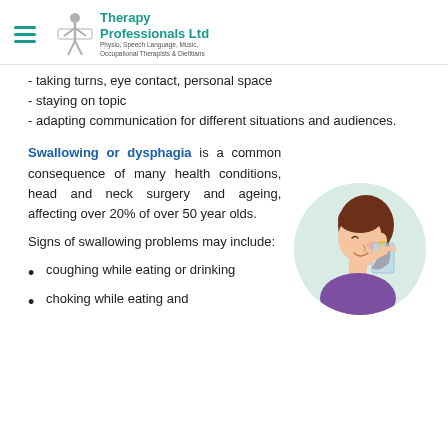Therapy Professionals Ltd — Physio, Speech Language, Music, Occupational Therapists & Dietitians
- taking turns, eye contact, personal space
- staying on topic
- adapting communication for different situations and audiences.
Swallowing or dysphagia is a common consequence of many health conditions, head and neck surgery and ageing, affecting over 20% of over 50 year olds.
[Figure (illustration): Cartoon illustration of a woman with brown hair drinking from a glass, shown in profile on a green circular background]
Signs of swallowing problems may include:
coughing while eating or drinking
choking while eating and